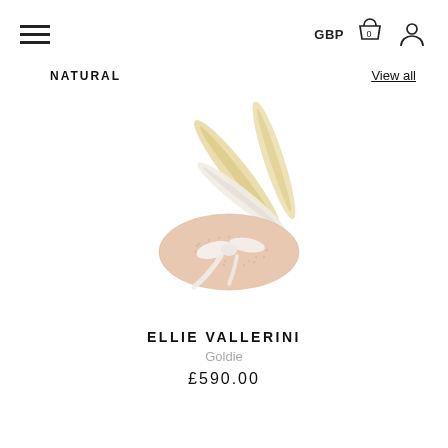GBP [cart icon] [user icon]
NATURAL
View all
[Figure (photo): A small oval fascinator hat in blush/natural straw with white feathers and a white ribbon bow, photographed on a white background.]
ELLIE VALLERINI
Goldie
£590.00